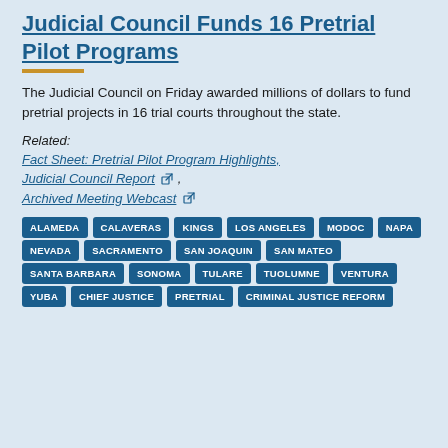Judicial Council Funds 16 Pretrial Pilot Programs
The Judicial Council on Friday awarded millions of dollars to fund pretrial projects in 16 trial courts throughout the state.
Related:
Fact Sheet: Pretrial Pilot Program Highlights,
Judicial Council Report [external link],
Archived Meeting Webcast [external link]
ALAMEDA
CALAVERAS
KINGS
LOS ANGELES
MODOC
NAPA
NEVADA
SACRAMENTO
SAN JOAQUIN
SAN MATEO
SANTA BARBARA
SONOMA
TULARE
TUOLUMNE
VENTURA
YUBA
CHIEF JUSTICE
PRETRIAL
CRIMINAL JUSTICE REFORM